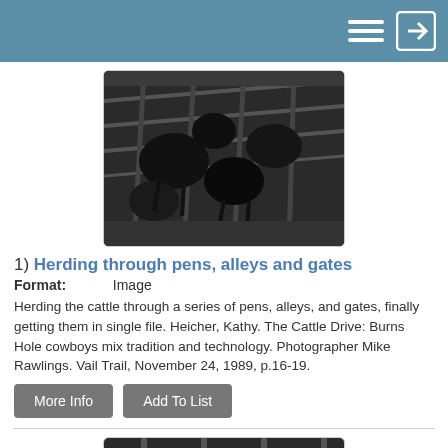[Figure (photo): Black and white photograph of cattle being herded through pens, alleys and gates, shot from above.]
1) Herding through pens, alleys and gates
Format:    Image
Herding the cattle through a series of pens, alleys, and gates, finally getting them in single file. Heicher, Kathy. The Cattle Drive: Burns Hole cowboys mix tradition and technology. Photographer Mike Rawlings. Vail Trail, November 24, 1989, p.16-19.
More Info   Add To List
[Figure (photo): Black and white photograph partially visible, showing a person near wooden fence/pen structure.]